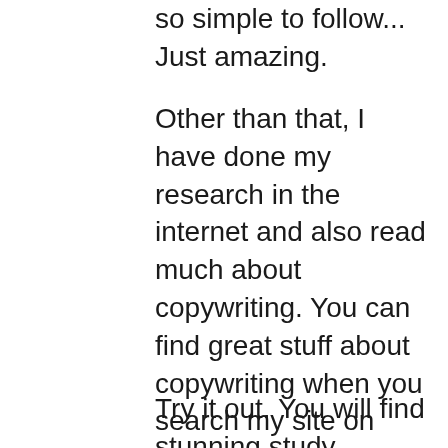so simple to follow... Just amazing.
Other than that, I have done my research in the internet and also read much about copywriting. You can find great stuff about copywriting when you search my site on “copywriting” I have written pretty many articles on the subject.
Try it out. You will find stunning study materials, some of the